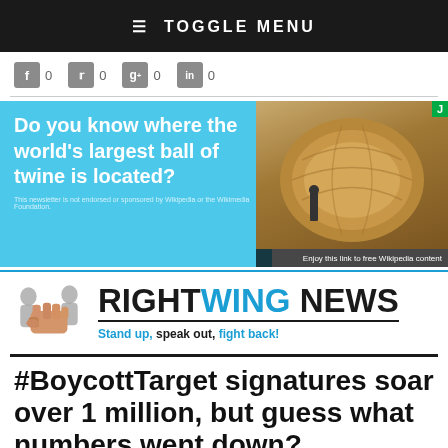≡ TOGGLE MENU
[Figure (screenshot): Social share buttons: Facebook, Twitter, Google+, LinkedIn, all showing 0 shares]
[Figure (infographic): Advertisement banner: 'Do you know where the world's largest ball of twine is located?' on a cyan background with a photo of a large ball of twine. Bottom right says 'Enjoy this link to free Wikipedia content'. Disclaimer: 'This newsletter is not endorsed or sponsored by Wikipedia or the Wikimedia Foundation.']
[Figure (logo): Right Wing News logo with fist icon. Tagline: Stand up, speak out, fight back!]
#BoycottTarget signatures soar over 1 million, but guess what numbers went down?